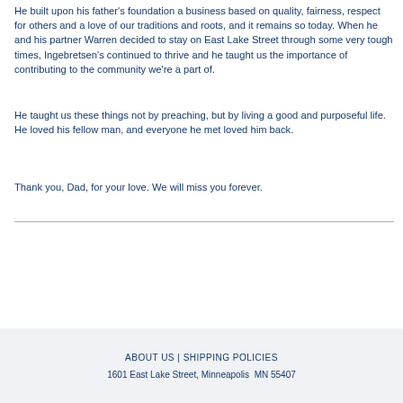He built upon his father's foundation a business based on quality, fairness, respect for others and a love of our traditions and roots, and it remains so today. When he and his partner Warren decided to stay on East Lake Street through some very tough times, Ingebretsen's continued to thrive and he taught us the importance of contributing to the community we're a part of.
He taught us these things not by preaching, but by living a good and purposeful life.
He loved his fellow man, and everyone he met loved him back.
Thank you, Dad, for your love. We will miss you forever.
ABOUT US | SHIPPING POLICIES
1601 East Lake Street, Minneapolis  MN 55407